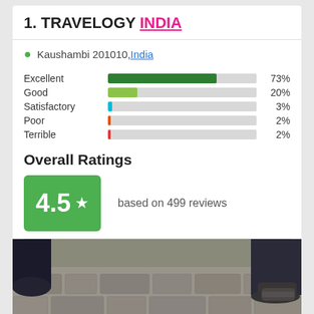1. TRAVELOGY INDIA
Kaushambi 201010, India
[Figure (bar-chart): Rating distribution]
Overall Ratings
4.5 ★  based on 499 reviews
[Figure (photo): Street-level photo of cobblestone pavement with people walking, showing legs and feet]